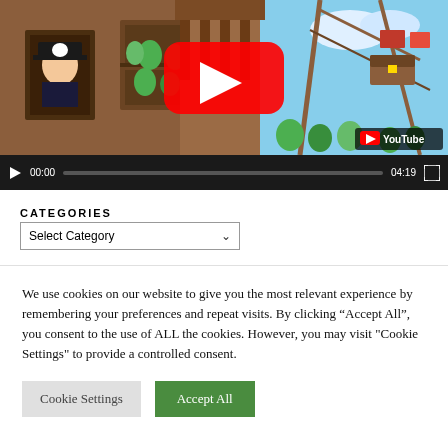[Figure (screenshot): YouTube video player showing a pirate-themed animated game scene. The video thumbnail shows a cartoon pirate ship interior with animated characters. Video controls show play button, time 00:00, progress bar, duration 04:19, and fullscreen button. YouTube logo visible in top-right of thumbnail.]
CATEGORIES
Select Category (dropdown)
We use cookies on our website to give you the most relevant experience by remembering your preferences and repeat visits. By clicking “Accept All”, you consent to the use of ALL the cookies. However, you may visit "Cookie Settings" to provide a controlled consent.